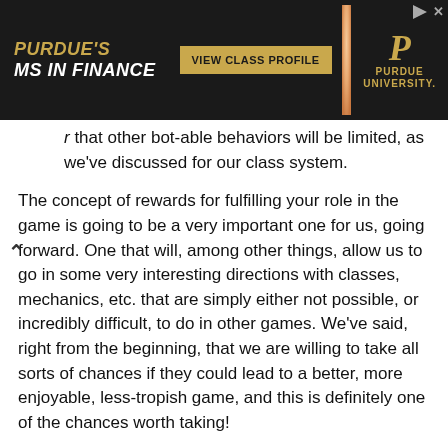[Figure (other): Purdue University MS in Finance advertisement banner with dark background, gold text, 'VIEW CLASS PROFILE' button, photo of a smiling man, and Purdue University logo]
that other bot-able behaviors will be limited, as we've discussed for our class system.
The concept of rewards for fulfilling your role in the game is going to be a very important one for us, going forward. One that will, among other things, allow us to go in some very interesting directions with classes, mechanics, etc. that are simply either not possible, or incredibly difficult, to do in other games. We've said, right from the beginning, that we are willing to take all sorts of chances if they could lead to a better, more enjoyable, less-tropish game, and this is definitely one of the chances worth taking!
It is also important to note that our crafters will have a role in helping balance stealthers, as well. Among the items that they will be able to create are devices that can detect a disturbance